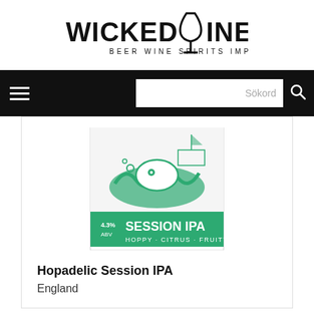[Figure (logo): Wicked Wine logo with text BEER WINE SPIRITS IMPORT and a wine glass icon]
[Figure (screenshot): Navigation bar with hamburger menu, search box labeled Sökord, and search icon]
[Figure (photo): Hopadelic Session IPA beer can label showing 4.3% ABV, Session IPA, Hoppy Citrus Fruity, with green illustrated design of a sea creature]
Hopadelic Session IPA
England